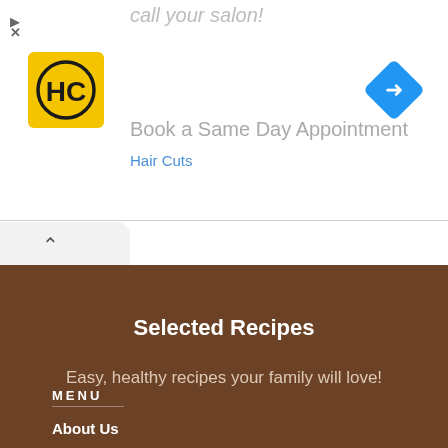call your salon!
[Figure (logo): HC logo — yellow square with black HC text and circular border]
[Figure (other): Blue diamond navigation/directions icon with white right-turn arrow]
Book a Same Day Appointment
Selected Recipes
Easy, healthy recipes your family will love!
MENU
About Us